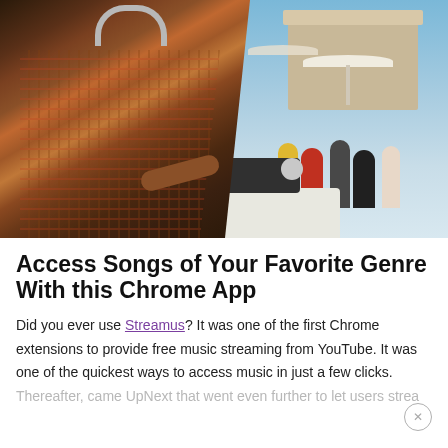[Figure (photo): A DJ wearing headphones and a plaid shirt operating DJ equipment at an outdoor rooftop party. People are visible in the background socializing.]
Access Songs of Your Favorite Genre With this Chrome App
Did you ever use Streamus? It was one of the first Chrome extensions to provide free music streaming from YouTube. It was one of the quickest ways to access music in just a few clicks. Thereafter, came UpNext that went even further to let users strea